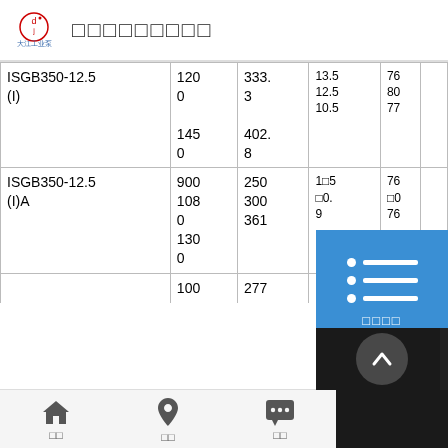[Figure (logo): Da Jiang Industrial Pump company logo with Chinese text and stylized DJ emblem]
□□□□□□□□□
| Model | Flow | Head | Eff. | Power | ... |
| --- | --- | --- | --- | --- | --- |
| ISGB350-12.5 (I) | 1200
1450 | 333.3
402.8 | 13.5
12.5
10.5 | 76
80
77 |  |
| ISGB350-12.5 (I)A | 900
1080
1300 | 250
300
361 | 11.5
10.
9 | 76
0
76 |  |
|  | 100 | 277 |  |  |  |
[Figure (screenshot): Blue overlay panel showing a list/menu icon with dot-dash lines and Chinese text button]
[Figure (screenshot): Dark corner overlay with circular up-arrow button (back to top)]
□□  □□  □□